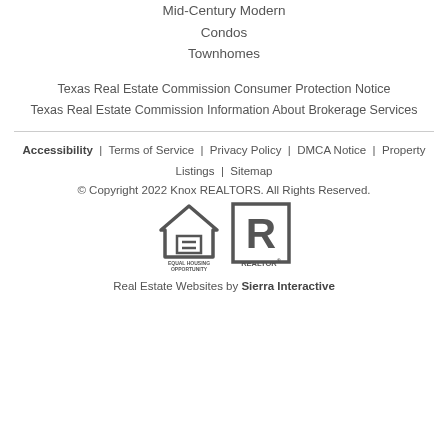Mid-Century Modern
Condos
Townhomes
Texas Real Estate Commission Consumer Protection Notice
Texas Real Estate Commission Information About Brokerage Services
Accessibility | Terms of Service | Privacy Policy | DMCA Notice | Property Listings | Sitemap
© Copyright 2022 Knox REALTORS. All Rights Reserved.
Real Estate Websites by Sierra Interactive